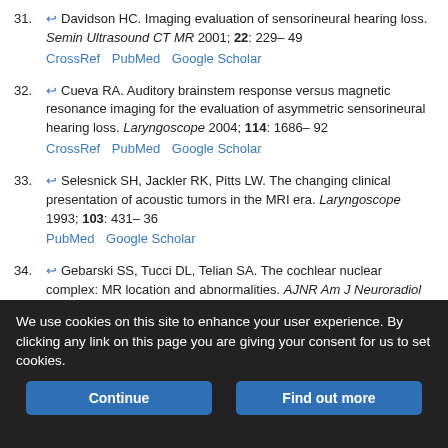31. Davidson HC. Imaging evaluation of sensorineural hearing loss. Semin Ultrasound CT MR 2001; 22: 229–49 CrossRef PubMed Google Scholar
32. Cueva RA. Auditory brainstem response versus magnetic resonance imaging for the evaluation of asymmetric sensorineural hearing loss. Laryngoscope 2004; 114: 1686–92 CrossRef PubMed Google Scholar
33. Selesnick SH, Jackler RK, Pitts LW. The changing clinical presentation of acoustic tumors in the MRI era. Laryngoscope 1993; 103: 431–36 PubMed Google Scholar
34. Gebarski SS, Tucci DL, Telian SA. The cochlear nuclear complex: MR location and abnormalities. AJNR Am J Neuroradiol 1993; 14: 1311–18 Abstract/FREE Full Text Google Scholar
35. Daniels RL, Swallow C, Shelton C, et al. Causes of unilateral
We use cookies on this site to enhance your user experience. By clicking any link on this page you are giving your consent for us to set cookies.